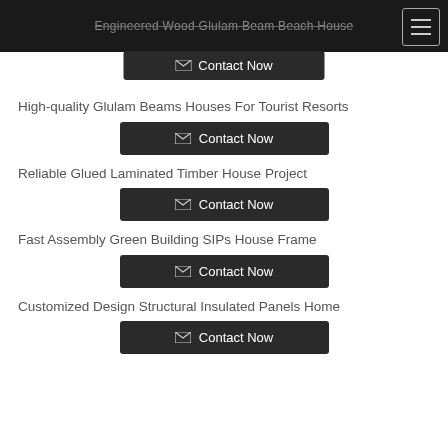Engineered Wood Glulam Beam Beach House
High-quality Glulam Beams Houses For Tourist Resorts
Contact Now
Reliable Glued Laminated Timber House Project
Contact Now
Fast Assembly Green Building SIPs House Frame
Contact Now
Customized Design Structural Insulated Panels Home
Contact Now